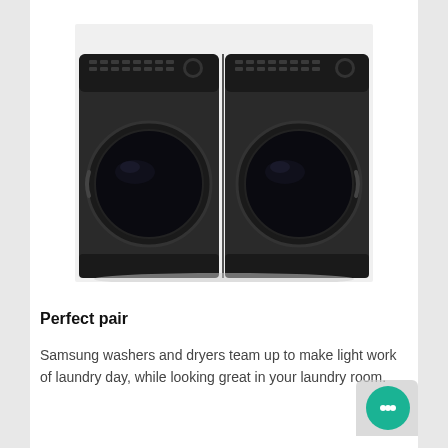[Figure (photo): A pair of Samsung front-load washer and dryer appliances in black/dark color, shown side by side from a front perspective. Both units have large circular drum doors and control panels on top.]
Perfect pair
Samsung washers and dryers team up to make light work of laundry day, while looking great in your laundry room.